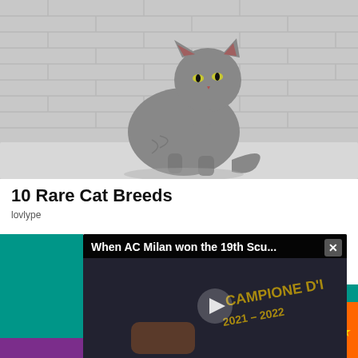[Figure (photo): A hairless Sphynx cat sitting upright on a fluffy white carpet against a white brick wall background, photographed in black and white / grayscale tones.]
10 Rare Cat Breeds
lovlype
[Figure (screenshot): Video popup overlay showing a dark thumbnail with play button. Title reads 'When AC Milan won the 19th Scu...' with a close (x) button. The video thumbnail shows a hand holding a medal engraved with 'CAMPIONE D'ITALIA 2021-2022'.]
[Figure (infographic): Social sharing bar at the bottom with colored sections: purple (blank), blue Facebook icon, light blue Twitter icon, green comment icon with count 0, orange like/thumbs-up icon with count 0.]